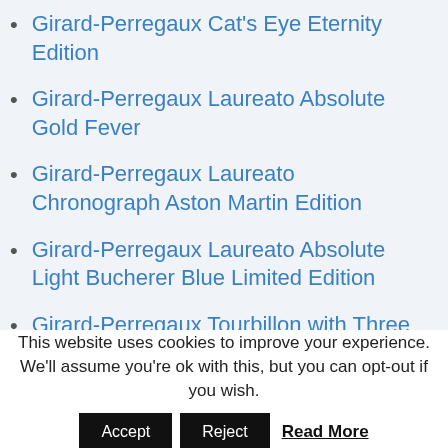Girard-Perregaux Cat's Eye Eternity Edition
Girard-Perregaux Laureato Absolute Gold Fever
Girard-Perregaux Laureato Chronograph Aston Martin Edition
Girard-Perregaux Laureato Absolute Light Bucherer Blue Limited Edition
Girard-Perregaux Tourbillon with Three Flying Bridges
This website uses cookies to improve your experience. We'll assume you're ok with this, but you can opt-out if you wish. Accept Reject Read More